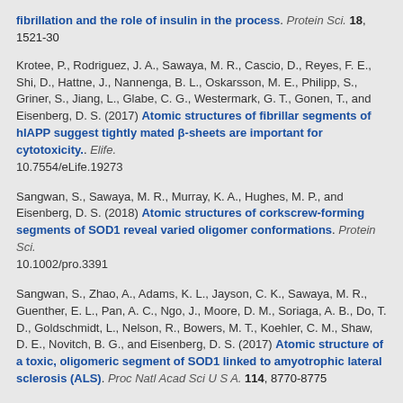fibrillation and the role of insulin in the process. Protein Sci. 18, 1521-30
Krotee, P., Rodriguez, J. A., Sawaya, M. R., Cascio, D., Reyes, F. E., Shi, D., Hattne, J., Nannenga, B. L., Oskarsson, M. E., Philipp, S., Griner, S., Jiang, L., Glabe, C. G., Westermark, G. T., Gonen, T., and Eisenberg, D. S. (2017) Atomic structures of fibrillar segments of hIAPP suggest tightly mated β-sheets are important for cytotoxicity.. Elife. 10.7554/eLife.19273
Sangwan, S., Sawaya, M. R., Murray, K. A., Hughes, M. P., and Eisenberg, D. S. (2018) Atomic structures of corkscrew-forming segments of SOD1 reveal varied oligomer conformations. Protein Sci. 10.1002/pro.3391
Sangwan, S., Zhao, A., Adams, K. L., Jayson, C. K., Sawaya, M. R., Guenther, E. L., Pan, A. C., Ngo, J., Moore, D. M., Soriaga, A. B., Do, T. D., Goldschmidt, L., Nelson, R., Bowers, M. T., Koehler, C. M., Shaw, D. E., Novitch, B. G., and Eisenberg, D. S. (2017) Atomic structure of a toxic, oligomeric segment of SOD1 linked to amyotrophic lateral sclerosis (ALS). Proc Natl Acad Sci U S A. 114, 8770-8775